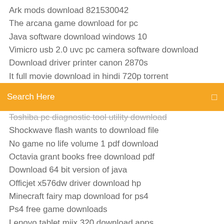Ark mods download 821530042
The arcana game download for pc
Java software download windows 10
Vimicro usb 2.0 uvc pc camera software download
Download driver printer canon 2870s
It full movie download in hindi 720p torrent
[Figure (screenshot): Search bar with orange background and text 'Search Here']
Toshiba pc diagnostic tool utility download
Shockwave flash wants to download file
No game no life volume 1 pdf download
Octavia grant books free download pdf
Download 64 bit version of java
Officjet x576dw driver download hp
Minecraft fairy map download for ps4
Ps4 free game downloads
Lenovo tablet miix 320 download apps
Python download file newfolder
Femdom chastity mp4 download